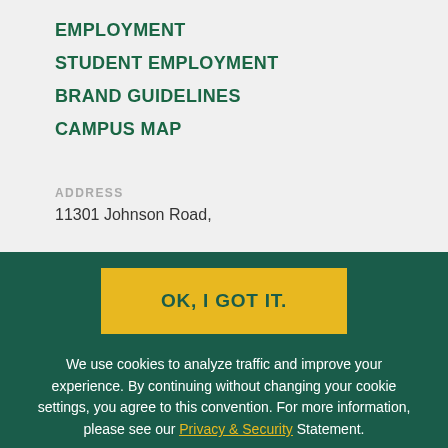EMPLOYMENT
STUDENT EMPLOYMENT
BRAND GUIDELINES
CAMPUS MAP
ADDRESS
11301 Johnson Road,
OK, I GOT IT.
We use cookies to analyze traffic and improve your experience. By continuing without changing your cookie settings, you agree to this convention. For more information, please see our Privacy & Security Statement.